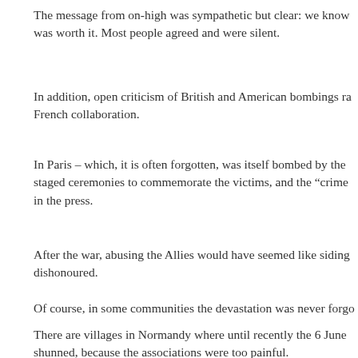The message from on-high was sympathetic but clear: we know was worth it. Most people agreed and were silent.
In addition, open criticism of British and American bombings ra French collaboration.
In Paris – which, it is often forgotten, was itself bombed by the staged ceremonies to commemorate the victims, and the "crimes in the press.
After the war, abusing the Allies would have seemed like siding dishonoured.
Of course, in some communities the devastation was never forgo
There are villages in Normandy where until recently the 6 June shunned, because the associations were too painful.
And on the ideological front, there have been intellectuals of bo